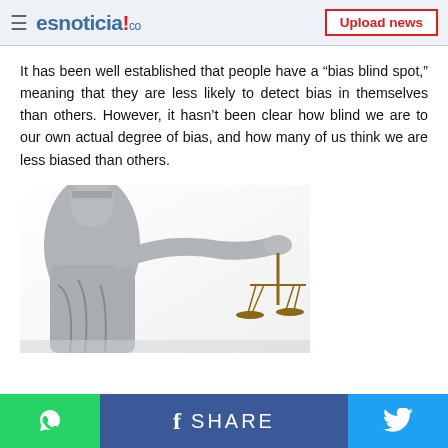esnoticia!.co — Upload news
It has been well established that people have a “bias blind spot,” meaning that they are less likely to detect bias in themselves than others. However, it hasn’t been clear how blind we are to our own actual degree of bias, and how many of us think we are less biased than others.
[Figure (photo): Statue of Justice (Lady Justice) with scales, stone figure with outstretched arm holding balance scales]
WhatsApp share button | Facebook SHARE button | Twitter share button